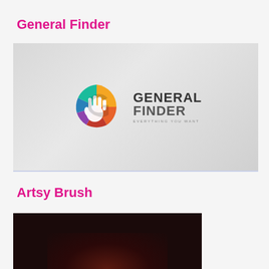General Finder
[Figure (logo): General Finder logo: colorful circular icon with a hand silhouette in gradient colors (yellow, orange, red, purple, blue) alongside bold text 'GENERAL FINDER' with tagline 'EVERYTHING YOU WANT' on a light gray gradient background]
Artsy Brush
[Figure (photo): Dark black/dark brown background image, bottom portion of an Artsy Brush product or artwork, mostly black with a warm reddish-brown glow in the lower center]